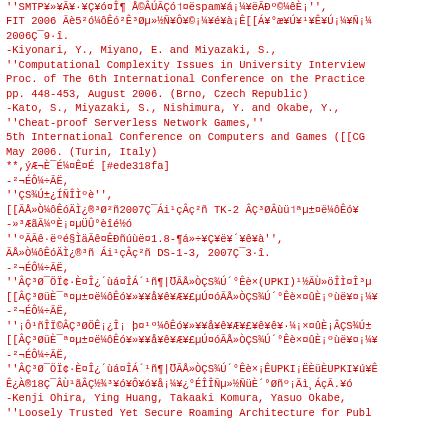''SMTP¥»¥Ã¥·¥Ç¥ó¤Î¶ Å©ÂÚÃÇó˦¤ëspam¥á¡¼¥ëÃÐº©¼êÈ¡'',
FIT 2006 Ãè5²ó¼ôÊó²Ê³Øµ»½Ñ¥Ô¥©¡¼¥é¥à¡Ê[[Á¥°æ¥Ú¥¹¥Ê¥Ú¡¼¥Ñ¡¼
2006Ç¯9·î.
-Kiyonari, Y., Miyano, E. and Miyazaki, S.,
''Computational Complexity Issues in University Interview
Proc. of The 6th International Conference on the Practice
pp. 448-453, August 2006. (Brno, Czech Republic)
-Kato, S., Miyazaki, S., Nishimura, Y. and Okabe, Y.,
''Cheat-proof Serverless Network Games,''
5th International Conference on Computers and Games ([[CG
May 2006. (Turin, Italy)
**,ýÆ¬È¯É¼¤Ê¤É [#ede318fa]
-²¬ÉÔ¼÷ÃË,
''ÇS¾Ú±¿ÍÑÎÌºè'',
[[ÃÅ»Ò¼ôÊóÄÌ¿®³Ø²ñ2007Ç¯Ái¹çÂç²ñ TK-2 ÂÇ³ØÂùü˦ªµ±¤ë¼ôÊó¥
-»³ÆãÃ¼ºÈ¡¤µÜº¿èéó
''ºÃÃê·ëºé§ÌäÃê¤ÊÐñºùë¤1.8-¶á»÷¥Ç¥ë¥´¥ê¥à'',
ÃÅ»Ò¼ôÊóÄÌ¿®³ñ Ái¹çÂç²ñ DS-1-3, 2007Ç¯3·î.
-²¬ÉÔ¼÷ÃË,
''ÂÇ³Ø¯ÖÏ¢·È¤Î¿¤ùá¤ÎÁ´¹ñ¶|ƱÃÅ»ÒÇS¾Ú´°Êè×(UPKI)¹½ÃÙ»öÎÌ¤Î³µ
[[ÂÇ³ØüÈ˪¤µ±¤ë¼ôÊó¥»¥¥å¥ê¥Æ¥£µÚ¤óÃÅ»ÒÇS¾Ú´°Êè×¤ûÈ¡ºùë¥¤¡¼¥
-²¬ÉÔ¼÷ÃË,
''¡Ô¹ñÎÏ©ÂÇ³ØÖÊ¡¿Î¡ þ¤¹º¼ôÊó¥»¥¥å¥ê¥Æ¥£¥ê¥ê¥·¼¡×¤ûÈ¡ÂÇS¾Ú±
[[ÂÇ³ØüÈ˪¤µ±¤ë¼ôÊó¥»¥¥å¥ê¥Æ¥£µÚ¤óÃÅ»ÒÇS¾Ú´°Êè×¤ûÈ¡ºùë¥¤¡¼¥
-²¬ÉÔ¼÷ÃË,
''ÂÇ³Ø¯ÖÏ¢·È¤Î¿¤ùá¤ÎÁ´¹ñ¶|ƱÃÅ»ÒÇS¾Ú´°Êè×¡ÊUPKI¡ËÈüÈUPKI¥ú¥Ê
Ê¿À®18Ç¯ÂÙ¹ãÂÇ½¾³¥ó¥Ô¥ó¥å¡¼¥¿¡¼É¦ÍÎÎÑµ»½ÑüÈ´°Øñº¡Äì¸ÁçÃ.¥ó
-Kenji Ohira, Ying Huang, Takaaki Komura, Yasuo Okabe,
''Loosely Trusted Yet Secure Roaming Architecture for Publ